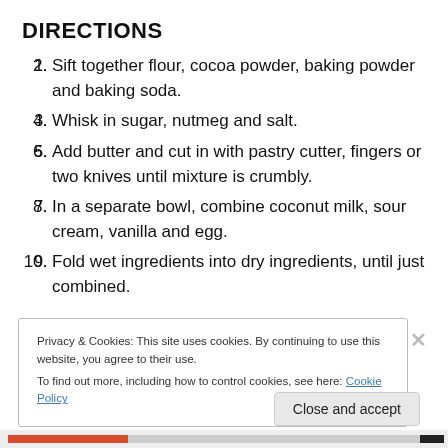DIRECTIONS
Sift together flour, cocoa powder, baking powder and baking soda.
Whisk in sugar, nutmeg and salt.
Add butter and cut in with pastry cutter, fingers or two knives until mixture is crumbly.
In a separate bowl, combine coconut milk, sour cream, vanilla and egg.
Fold wet ingredients into dry ingredients, until just combined.
Privacy & Cookies: This site uses cookies. By continuing to use this website, you agree to their use.
To find out more, including how to control cookies, see here: Cookie Policy
Close and accept